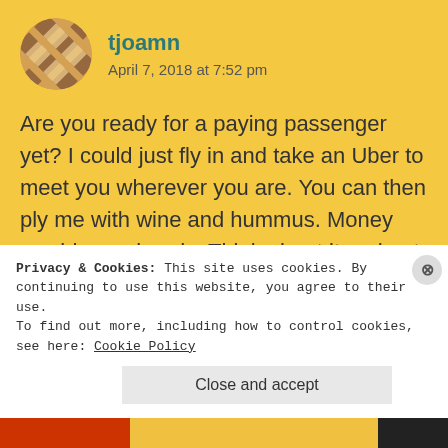[Figure (illustration): Round avatar/profile image with a geometric checkered pattern in brown and beige tones, circular crop]
tjoamn
April 7, 2018 at 7:52 pm
Are you ready for a paying passenger yet? I could just fly in and take an Uber to meet you wherever you are. You can then ply me with wine and hummus. Money would pass hands. Think about it and get back to me. Tell no one!
Privacy & Cookies: This site uses cookies. By continuing to use this website, you agree to their use.
To find out more, including how to control cookies, see here: Cookie Policy
Close and accept